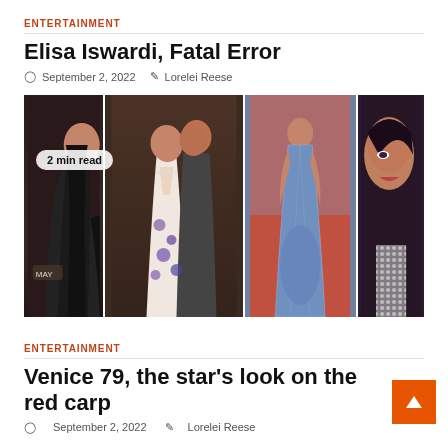ENTERTAINMENT
Elisa Iswardi, Fatal Error
September 2, 2022  Lorelei Reese
[Figure (photo): Collage of celebrities on red carpet at Venice Film Festival, showing 4 panels: woman in black gown, couple kissing, woman in blue sequined dress, close-up of woman's face. Badge reads '2 min read'.]
ENTERTAINMENT
Venice 79, the star's look on the red carp
September 2, 2022  Lorelei Reese